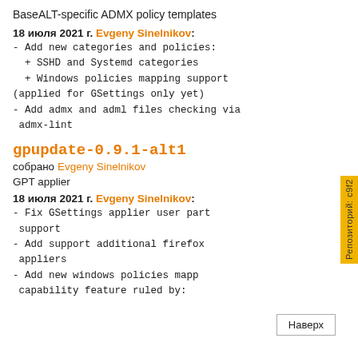BaseALT-specific ADMX policy templates
18 июля 2021 г. Evgeny Sinelnikov:
- Add new categories and policies:
  + SSHD and Systemd categories
  + Windows policies mapping support
(applied for GSettings only yet)
- Add admx and adml files checking via
admx-lint
gpupdate-0.9.1-alt1
собрано Evgeny Sinelnikov
GPT applier
18 июля 2021 г. Evgeny Sinelnikov:
- Fix GSettings applier user part
support
- Add support additional firefox
appliers
- Add new windows policies mapp...
capability feature ruled by: